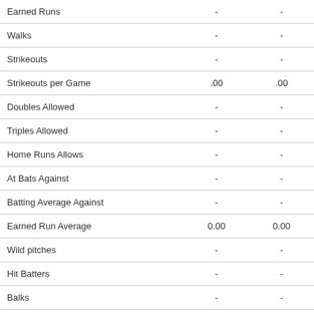|  |  |  |
| --- | --- | --- |
| Earned Runs | - | - |
| Walks | - | - |
| Strikeouts | - | - |
| Strikeouts per Game | .00 | .00 |
| Doubles Allowed | - | - |
| Triples Allowed | - | - |
| Home Runs Allows | - | - |
| At Bats Against | - | - |
| Batting Average Against | - | - |
| Earned Run Average | 0.00 | 0.00 |
| Wild pitches | - | - |
| Hit Batters | - | - |
| Balks | - | - |
| Sacrifice Flies Allowed | - | - |
| Sacrifice Hits Allowed | - | - |
| Total Chances | 0 | 0 |
| Put Outs | - | - |
| Assists | - | - |
| Errors | - | - |